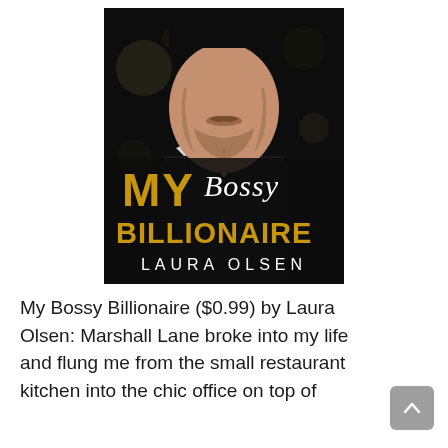[Figure (illustration): Book cover for 'My Bossy Billionaire' by Laura Olsen. Dark background with a close-up photo of a man's lower face (chin, stubble, jawline) wearing a dark suit and white shirt. Bold gold text reads 'MY BILLIONAIRE', white script text reads 'Bossy', and white spaced text at bottom reads 'LAURA OLSEN'.]
My Bossy Billionaire ($0.99) by Laura Olsen: Marshall Lane broke into my life and flung me from the small restaurant kitchen into the chic office on top of...